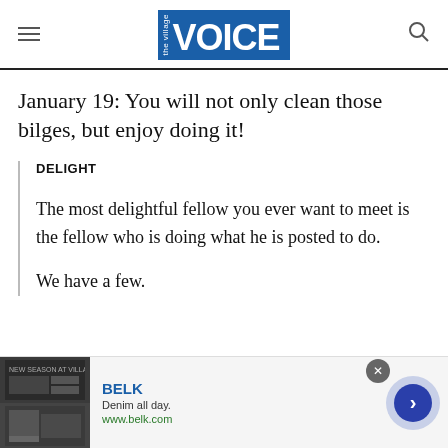the Village VOICE
January 19: You will not only clean those bilges, but enjoy doing it!
DELIGHT
The most delightful fellow you ever want to meet is the fellow who is doing what he is posted to do.
We have a few.
[Figure (other): Advertisement banner for BELK: 'Denim all day. www.belk.com' with product images and navigation arrow]